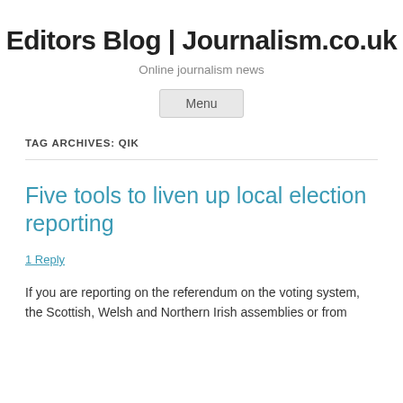Editors Blog | Journalism.co.uk
Online journalism news
Menu
TAG ARCHIVES: QIK
Five tools to liven up local election reporting
1 Reply
If you are reporting on the referendum on the voting system, the Scottish, Welsh and Northern Irish assemblies or from